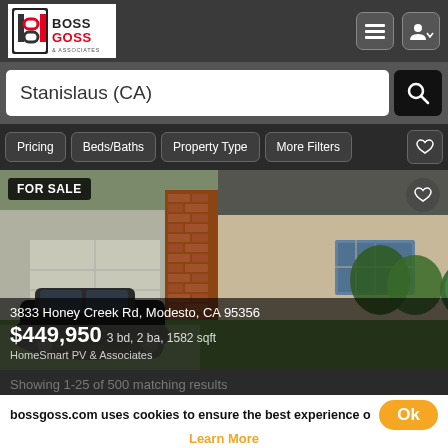[Figure (screenshot): Boss Goss & Associates real estate website header with logo, hamburger menu icon, and user icon]
Stanislaus (CA)
Pricing
Beds/Baths
Property Type
More Filters
[Figure (photo): Exterior photo of a single-family home at 3833 Honey Creek Rd, Modesto CA 95356. Shows a car in the driveway, brick chimney, garage, and front lawn.]
FOR SALE
3833 Honey Creek Rd, Modesto, CA 95356
$449,950 3 bd, 2 ba, 1582 sqft
HomeSmart PV & Associates
Showing 1-25 of 500 matching results
bossgoss.com uses cookies to ensure the best experience o
Ok
Learn More
1  2  3  4  5  6  7  8  9